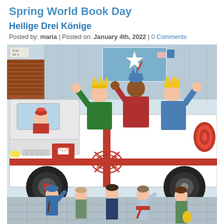Spring World Book Day
Heilige Drei Könige
Posted by: maria | Posted on: January 4th, 2022 | 0 Comments
[Figure (illustration): Colorful illustration of three kings wearing crowns and colorful robes, standing on a white truck decorated with a large red bow and ribbon. One figure is visible through the truck window. Five children are seen from behind in the foreground, waving at the kings. The scene appears to be a Three Kings Day parade.]